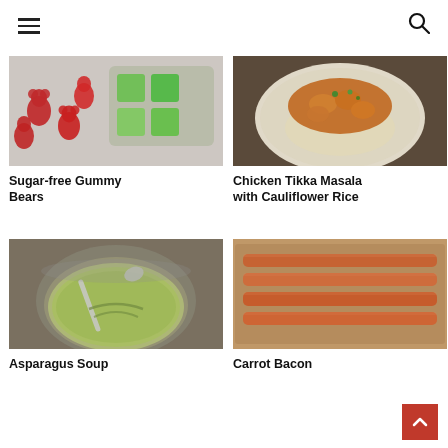Navigation header with hamburger menu and search icon
[Figure (photo): Red gummy bears and green gelatin cubes on a surface]
Sugar-free Gummy Bears
[Figure (photo): Chicken tikka masala served over cauliflower rice on a white plate]
Chicken Tikka Masala with Cauliflower Rice
[Figure (photo): Bowl of green asparagus soup with a spoon]
Asparagus Soup
[Figure (photo): Strips of carrot bacon on a baking tray]
Carrot Bacon